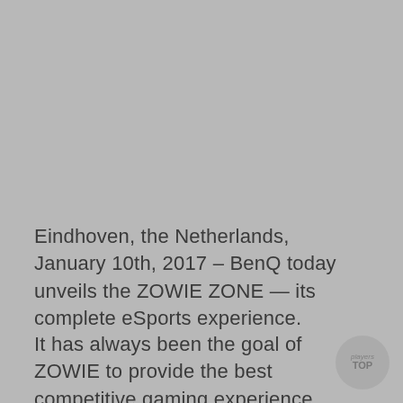Eindhoven, the Netherlands, January 10th, 2017 – BenQ today unveils the ZOWIE ZONE — its complete eSports experience.
It has always been the goal of ZOWIE to provide the best competitive gaming experience, enabling players to find their most comfortable settings effortlessly,